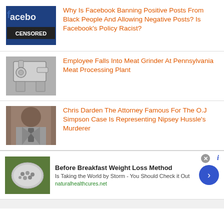[Figure (photo): Facebook logo with CENSORED text overlay on dark blue background]
Why Is Facebook Banning Positive Posts From Black People And Allowing Negative Posts? Is Facebook's Policy Racist?
[Figure (photo): Industrial metal meat grinder machine, stainless steel]
Employee Falls Into Meat Grinder At Pennsylvania Meat Processing Plant
[Figure (photo): Chris Darden, attorney, man in suit with tie]
Chris Darden The Attorney Famous For The O.J Simpson Case Is Representing Nipsey Hussle's Murderer
[Figure (photo): Advertisement thumbnail showing a spoon with pills/supplements]
Before Breakfast Weight Loss Method
Is Taking the World by Storm - You Should Check it Out
naturalhealthcures.net